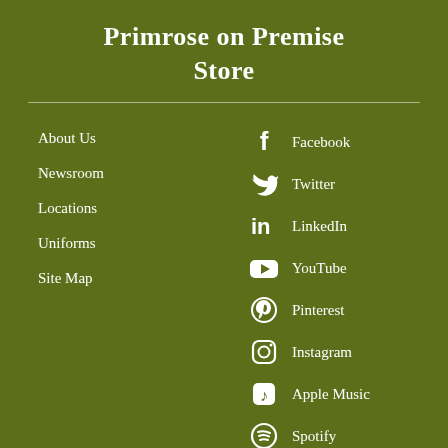Primrose on Premise
Store
About Us
Newsroom
Locations
Uniforms
Site Map
Facebook
Twitter
LinkedIn
YouTube
Pinterest
Instagram
Apple Music
Spotify
Get early education tips from Primrose with the Pointers for Parents email.